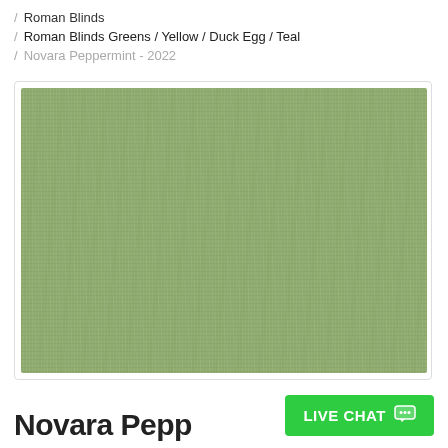/ Roman Blinds
/ Roman Blinds Greens / Yellow / Duck Egg / Teal
/ Novara Peppermint - 2022
[Figure (photo): Close-up photograph of a sage/peppermint green fabric swatch with a woven textile texture, used for roman blinds.]
Novara Pepp…
LIVE CHAT